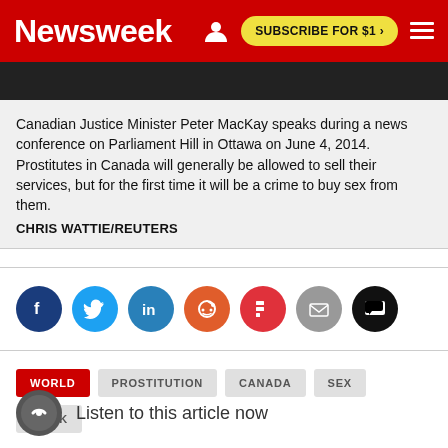Newsweek | SUBSCRIBE FOR $1 >
[Figure (photo): Dark photo strip showing a partial view of a news conference scene]
Canadian Justice Minister Peter MacKay speaks during a news conference on Parliament Hill in Ottawa on June 4, 2014. Prostitutes in Canada will generally be allowed to sell their services, but for the first time it will be a crime to buy sex from them.
CHRIS WATTIE/REUTERS
[Figure (infographic): Social media share buttons row: Facebook, Twitter, LinkedIn, Reddit, Flipboard, Email, Comments]
WORLD
PROSTITUTION
CANADA
SEX
WORK
Listen to this article now